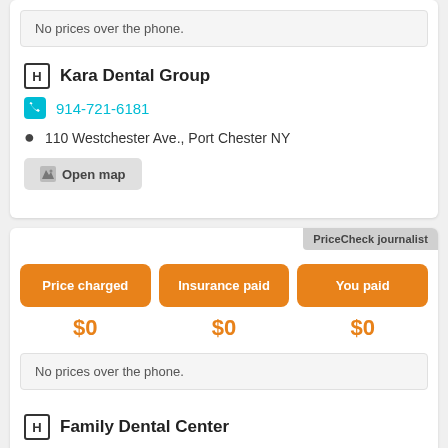No prices over the phone.
Kara Dental Group
914-721-6181
110 Westchester Ave., Port Chester NY
Open map
PriceCheck journalist
Price charged
Insurance paid
You paid
$0
$0
$0
No prices over the phone.
Family Dental Center
914-939-6555
240 Westchester Ave., Port Chester NY